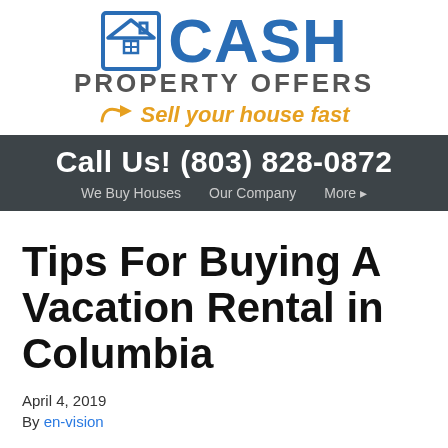[Figure (logo): Cash Property Offers logo with house icon, CASH in blue, PROPERTY OFFERS in gray, and 'Sell your house fast' in orange italic with arrow]
Call Us! (803) 828-0872
We Buy Houses  Our Company  More
Tips For Buying A Vacation Rental in Columbia
April 4, 2019
By en-vision